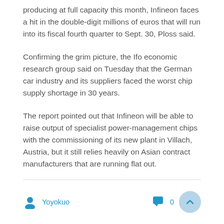producing at full capacity this month, Infineon faces a hit in the double-digit millions of euros that will run into its fiscal fourth quarter to Sept. 30, Ploss said.
Confirming the grim picture, the Ifo economic research group said on Tuesday that the German car industry and its suppliers faced the worst chip supply shortage in 30 years.
The report pointed out that Infineon will be able to raise output of specialist power-management chips with the commissioning of its new plant in Villach, Austria, but it still relies heavily on Asian contract manufacturers that are running flat out.
Yoyokuo   0